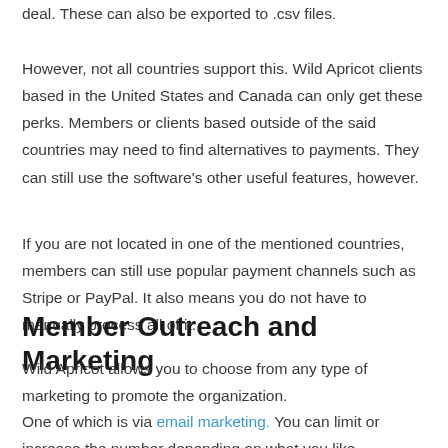deal. These can also be exported to .csv files.
However, not all countries support this. Wild Apricot clients based in the United States and Canada can only get these perks. Members or clients based outside of the said countries may need to find alternatives to payments. They can still use the software's other useful features, however.
If you are not located in one of the mentioned countries, members can still use popular payment channels such as Stripe or PayPal. It also means you do not have to manually process all of it.
Member Outreach and Marketing
Wild Apricot allows you to choose from any type of marketing to promote the organization.
One of which is via email marketing. You can limit or increase the number depending on what you like.